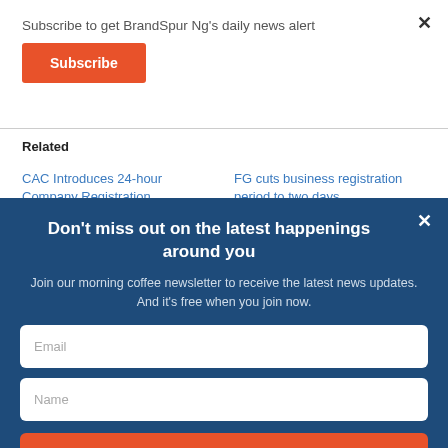Subscribe to get BrandSpur Ng's daily news alert
Subscribe
Related
CAC Introduces 24-hour Company Registration
FG cuts business registration period to two days
Don't miss out on the latest happenings around you
Join our morning coffee newsletter to receive the latest news updates. And it's free when you join now.
Email
Name
JOIN NOW